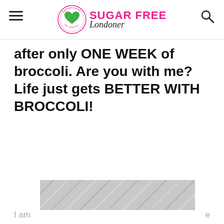Sugar Free Londoner
after only ONE WEEK of broccoli. Are you with me? Life just gets BETTER WITH BROCCOLI!
[Figure (other): Pink circular favorite/heart button and a white circular share button floating on the right side of the page]
[Figure (other): Advertisement banner with gray hexagon/chevron pattern and play/close controls]
I am